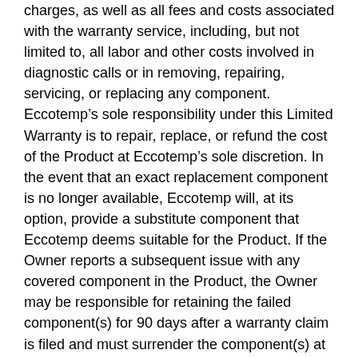charges, as well as all fees and costs associated with the warranty service, including, but not limited to, all labor and other costs involved in diagnostic calls or in removing, repairing, servicing, or replacing any component. Eccotemp’s sole responsibility under this Limited Warranty is to repair, replace, or refund the cost of the Product at Eccotemp’s sole discretion. In the event that an exact replacement component is no longer available, Eccotemp will, at its option, provide a substitute component that Eccotemp deems suitable for the Product. If the Owner reports a subsequent issue with any covered component in the Product, the Owner may be responsible for retaining the failed component(s) for 90 days after a warranty claim is filed and must surrender the component(s) at the request of Ecccotemp.
Both Eccotemp and the Owner of the Product are bound by this Limited Warranty.